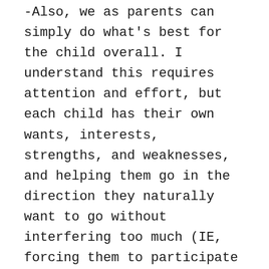-Also, we as parents can simply do what's best for the child overall. I understand this requires attention and effort, but each child has their own wants, interests, strengths, and weaknesses, and helping them go in the direction they naturally want to go without interfering too much (IE, forcing them to participate in a broken school system) is definitely a better option for your precious child!
Conclusion
The educational system largely shapes